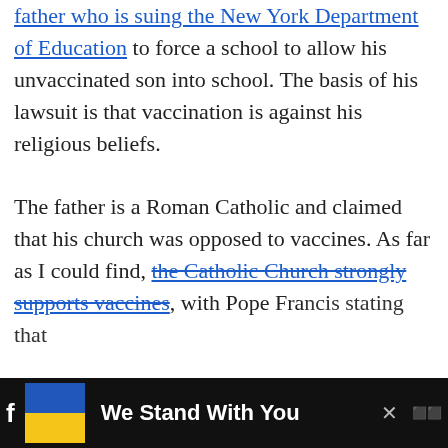father who is suing the New York Department of Education to force a school to allow his unvaccinated son into school. The basis of his lawsuit is that vaccination is against his religious beliefs.

The father is a Roman Catholic and claimed that his church was opposed to vaccines. As far as I could find, the Catholic Church strongly supports vaccines, with Pope Francis stating that
[Figure (screenshot): Advertisement banner at bottom of page showing 'We Stand With You' with Ukrainian flag colors (blue and yellow) and social media icons on dark background]